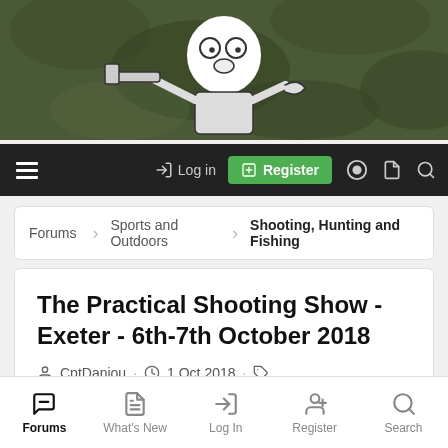[Figure (illustration): Website header banner with camouflage green/brown background and a cartoon character (bug-eyed figure holding a gun/rifle), white line drawing style on dark military camouflage pattern]
Log in | Register (navigation bar with hamburger menu, login, register buttons and icons)
Forums › Sports and Outdoors › Shooting, Hunting and Fishing
The Practical Shooting Show - Exeter - 6th-7th October 2018
CptDanjou · 1 Oct 2018 · the practical shooting show
Forums | What's New | Log In | Register | Search